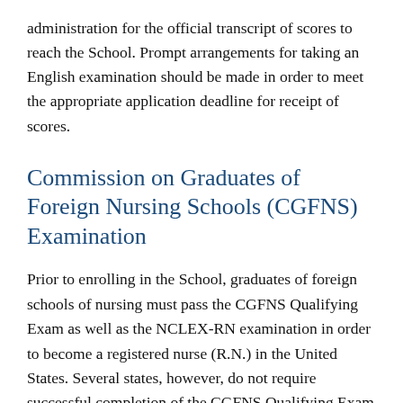administration for the official transcript of scores to reach the School. Prompt arrangements for taking an English examination should be made in order to meet the appropriate application deadline for receipt of scores.
Commission on Graduates of Foreign Nursing Schools (CGFNS) Examination
Prior to enrolling in the School, graduates of foreign schools of nursing must pass the CGFNS Qualifying Exam as well as the NCLEX-RN examination in order to become a registered nurse (R.N.) in the United States. Several states, however, do not require successful completion of the CGFNS Qualifying Exam in order to take the NCLEX-RN. Information on the CGFNS